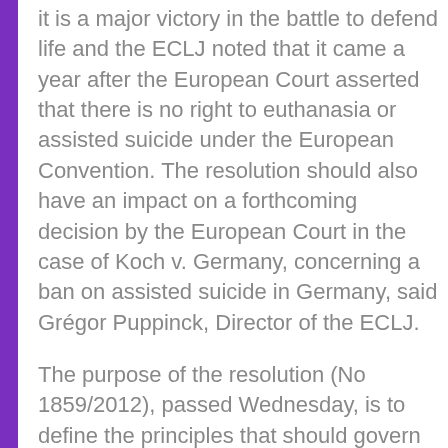it is a major victory in the battle to defend life and the ECLJ noted that it came a year after the European Court asserted that there is no right to euthanasia or assisted suicide under the European Convention. The resolution should also have an impact on a forthcoming decision by the European Court in the case of Koch v. Germany, concerning a ban on assisted suicide in Germany, said Grégor Puppinck, Director of the ECLJ.
The purpose of the resolution (No 1859/2012), passed Wednesday, is to define the principles that should govern the practice of "living wills" or "advance directives" in Europe.
The "living wills" or "advance directives" are aimed at enabling patients to express in advance their wishes regarding medical intervention or